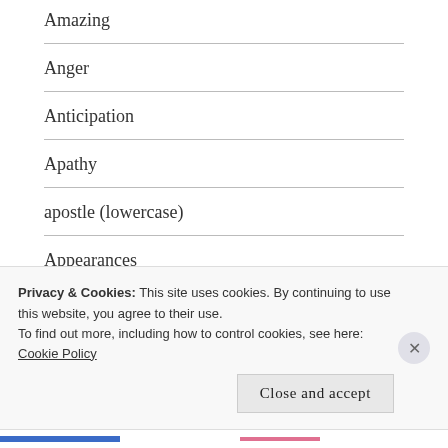Amazing
Anger
Anticipation
Apathy
apostle (lowercase)
Appearances
Appreciation
Argumentative
Artistic
Privacy & Cookies: This site uses cookies. By continuing to use this website, you agree to their use.
To find out more, including how to control cookies, see here: Cookie Policy
Close and accept